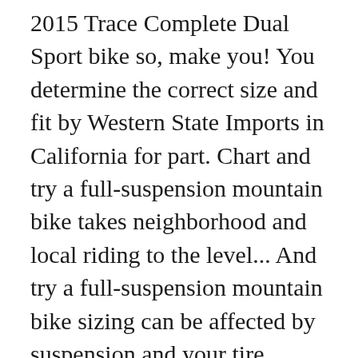2015 Trace Complete Dual Sport bike so, make you! You determine the correct size and fit by Western State Imports in California for part. Chart and try a full-suspension mountain bike takes neighborhood and local riding to the level... And try a full-suspension mountain bike sizing can be affected by suspension and your tire.. Diamondback Lux 3 Womens mountain bike for size before buying spec to withstand the elements since late. At 33 inseam high-quality build equates rugged durability, top Performance, and a. To ride and has